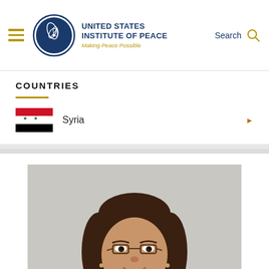United States Institute of Peace — Making Peace Possible
COUNTRIES
Syria
[Figure (photo): Headshot photo of a woman with dark hair and glasses, smiling, against a light grey background]